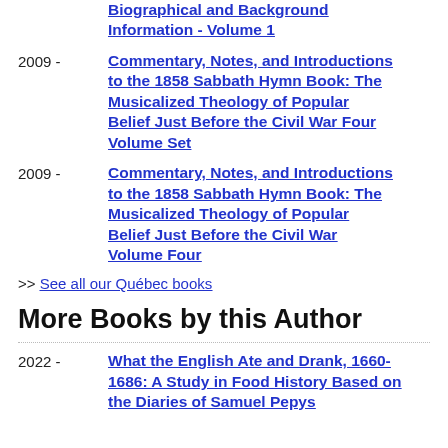Biographical and Background Information - Volume 1
2009 - Commentary, Notes, and Introductions to the 1858 Sabbath Hymn Book: The Musicalized Theology of Popular Belief Just Before the Civil War Four Volume Set
2009 - Commentary, Notes, and Introductions to the 1858 Sabbath Hymn Book: The Musicalized Theology of Popular Belief Just Before the Civil War Volume Four
>> See all our Québec books
More Books by this Author
2022 - What the English Ate and Drank, 1660-1686: A Study in Food History Based on the Diaries of Samuel Pepys